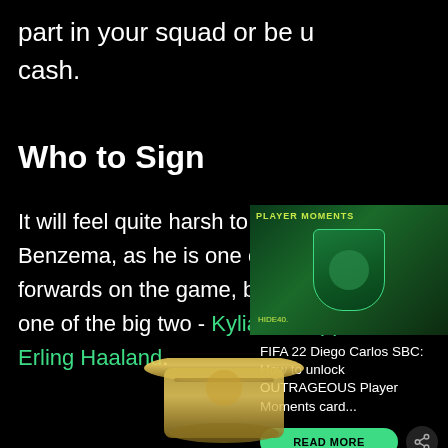part in your squad or be used for cash.
Who to Sign
It will feel quite harsh to do this to Benzema, as he is one of the best forwards on the game, but look to sign one of the big two - Kylian Mbappe or Erling Haaland.
[Figure (photo): FIFA 22 Player Moments card image showing Diego Carlos]
FIFA 22 Diego Carlos SBC: How to unlock OUTRAGEOUS Player Moments card...
[Figure (photo): Gold FIFA player card partially visible at bottom of page]